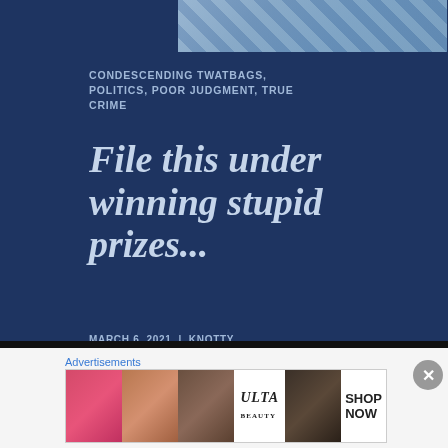[Figure (photo): Partial top image showing colorful background, cropped at top of page]
CONDESCENDING TWATBAGS, POLITICS, POOR JUDGMENT, TRUE CRIME
File this under winning stupid prizes...
MARCH 6, 2021 | KNOTTY | ARKANSAS, CAPITOL, JAIL, NANCY PELOSI, RACHEL MADDOW, RACISTS, RICHARD BARNETT, TANTRUMS, TEMPER TANTRUMS, WEIRD WILBUR
Advertisements
[Figure (screenshot): Advertisement banner showing beauty/makeup images and ULTA brand with SHOP NOW text]